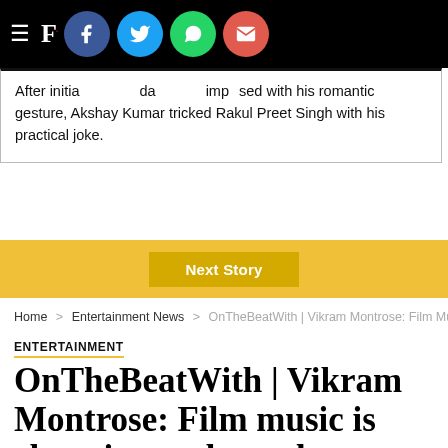F. [social share bar: Facebook, Twitter, WhatsApp, Email]
After initial dawn, she was also impressed with his romantic gesture, Akshay Kumar tricked Rakul Preet Singh with his practical joke.
Next Story
Home > Entertainment News > OnTheBeatWith | Vikram Montrose: Film Music...
ENTERTAINMENT
OnTheBeatWith | Vikram Montrose: Film music is changing and people are opening up to new soundscapes